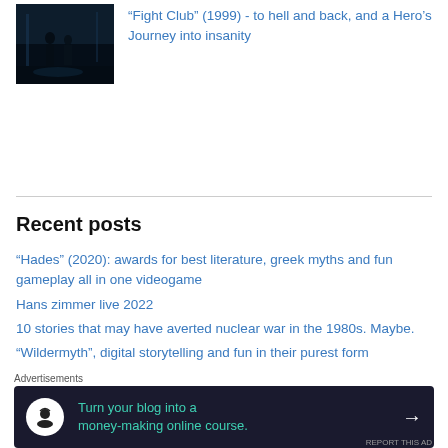[Figure (photo): Dark cinematic still from Fight Club (1999) showing two silhouetted figures in a dimly lit blue-toned scene]
"Fight Club" (1999) - to hell and back, and a Hero's Journey into insanity
Recent posts
“Hades” (2020): awards for best literature, greek myths and fun gameplay all in one videogame
Hans zimmer live 2022
10 stories that may have averted nuclear war in the 1980s. Maybe.
“Wildermyth”, digital storytelling and fun in their purest form
“Don’t Look Up” (2021) shows exactly why star power won’t save us
“Dune” (2021): the mythic structure, explained
Advertisements
[Figure (infographic): Advertisement banner: Turn your blog into a money-making online course.]